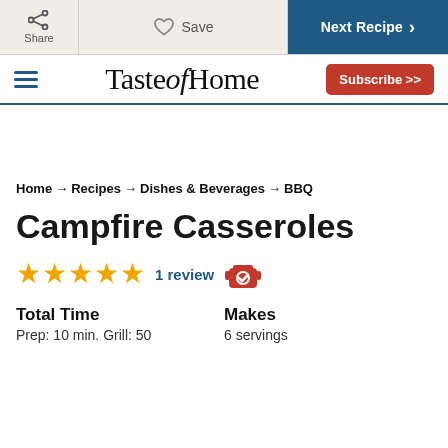Share | Save | Next Recipe
[Figure (logo): Taste of Home logo with hamburger menu and Subscribe button]
Home → Recipes → Dishes & Beverages → BBQ
Campfire Casseroles
★★★★★ 1 review
Total Time
Prep: 10 min. Grill: 50
Makes
6 servings